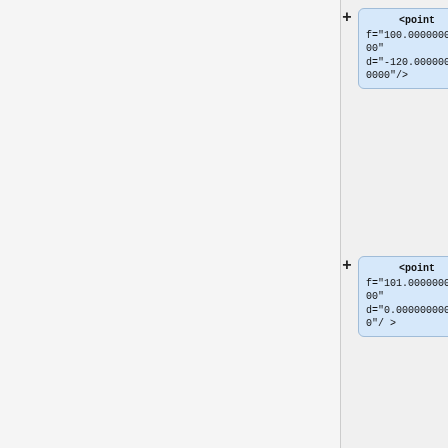[Figure (other): XML tree viewer showing point and curve XML nodes with attributes f and d, displayed as collapsible tree items with plus buttons]
<point f="100.000000000000" d="-120.0000000000000"/>
<point f="101.000000000000" d="0.0000000000000"/>
<point f="2000.000000000000000" d="0.0000000000000"/>
<point f="2001.000000000000000" d="-120.000000000000000"/>
</curve>